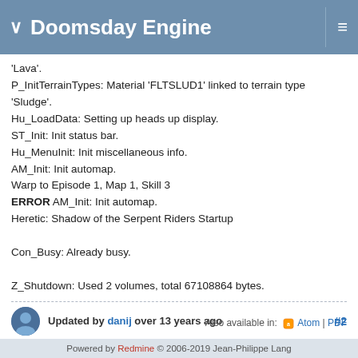Doomsday Engine
'Lava'.
P_InitTerrainTypes: Material 'FLTSLUD1' linked to terrain type 'Sludge'.
Hu_LoadData: Setting up heads up display.
ST_Init: Init status bar.
Hu_MenuInit: Init miscellaneous info.
AM_Init: Init automap.
Warp to Episode 1, Map 1, Skill 3
ERROR AM_Init: Init automap.
Heretic: Shadow of the Serpent Riders Startup

Con_Busy: Already busy.

Z_Shutdown: Used 2 volumes, total 67108864 bytes.
Updated by danij over 13 years ago #2
Fixed in svn for 1.9.0-beta6.2
Also available in: Atom | PDF
Powered by Redmine © 2006-2019 Jean-Philippe Lang